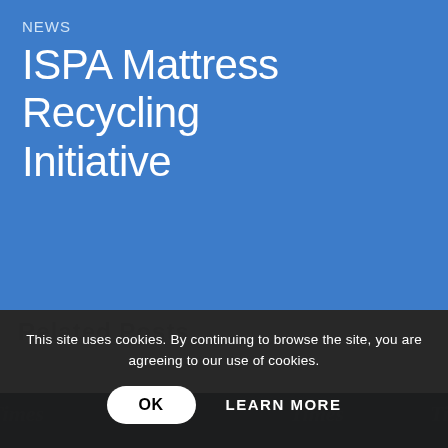NEWS
ISPA Mattress Recycling Initiative
This site uses cookies. By continuing to browse the site, you are agreeing to our use of cookies.
OK   LEARN MORE